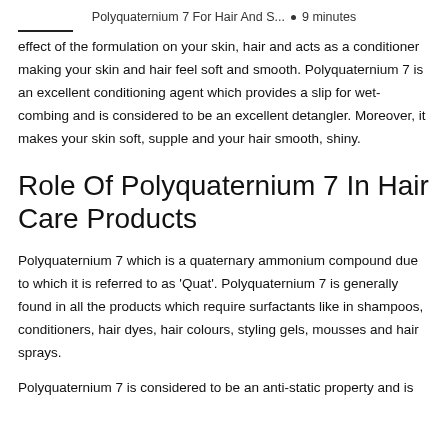Polyquaternium 7 For Hair And S... • 9 minutes
effect of the formulation on your skin, hair and acts as a conditioner making your skin and hair feel soft and smooth. Polyquaternium 7 is an excellent conditioning agent which provides a slip for wet-combing and is considered to be an excellent detangler. Moreover, it makes your skin soft, supple and your hair smooth, shiny.
Role Of Polyquaternium 7 In Hair Care Products
Polyquaternium 7 which is a quaternary ammonium compound due to which it is referred to as 'Quat'. Polyquaternium 7 is generally found in all the products which require surfactants like in shampoos, conditioners, hair dyes, hair colours, styling gels, mousses and hair sprays.
Polyquaternium 7 is considered to be an anti-static property and is